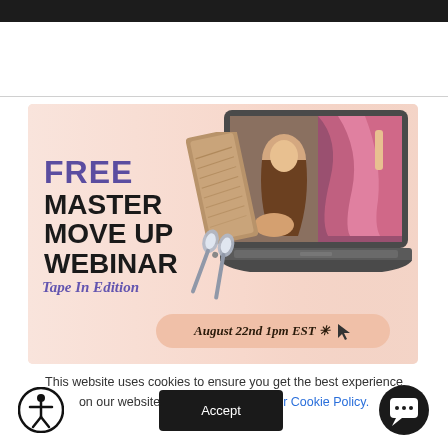[Figure (illustration): Promotional banner for a free Master Move Up Webinar, Tape In Edition, on August 22nd 1pm EST. Features a laptop displaying a hair stylist working on a client with colorful hair, scissors and wood-texture decoration, and text on a pink/peach background.]
This website uses cookies to ensure you get the best experience on our website. Learn more about our Cookie Policy.